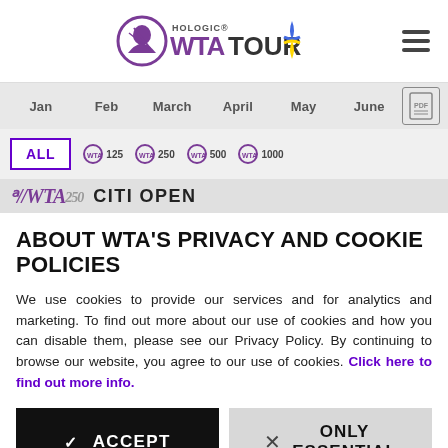Hologic WTA Tour
Jan Feb March April May June
ALL WTA125 WTA250 WTA500 WTA1000
WTA250 CITI OPEN
ABOUT WTA'S PRIVACY AND COOKIE POLICIES
We use cookies to provide our services and for analytics and marketing. To find out more about our use of cookies and how you can disable them, please see our Privacy Policy. By continuing to browse our website, you agree to our use of cookies. Click here to find out more info.
✓ ACCEPT
× ONLY ESSENTIAL